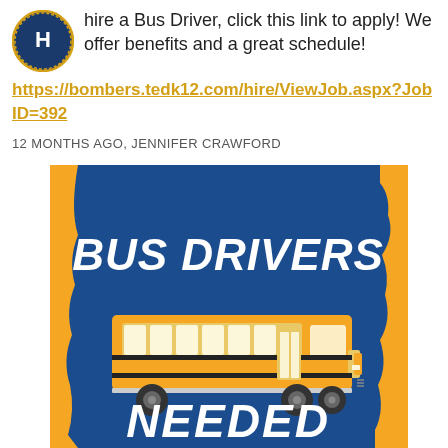hire a Bus Driver, click this link to apply! We offer benefits and a great schedule!
https://bombers.tedk12.com/hire/ViewJob.aspx?JobID=392
12 MONTHS AGO, JENNIFER CRAWFORD
[Figure (illustration): Bus Drivers Needed graphic with school bus on dark blue background with yellow/gold border, text reads BUS DRIVERS NEEDED]